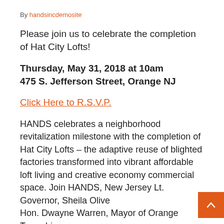By handsincdemosite
Please join us to celebrate the completion of Hat City Lofts!
Thursday, May 31, 2018 at 10am
475 S. Jefferson Street, Orange NJ
Click Here to R.S.V.P.
HANDS celebrates a neighborhood revitalization milestone with the completion of Hat City Lofts – the adaptive reuse of blighted factories transformed into vibrant affordable loft living and creative economy commercial space. Join HANDS, New Jersey Lt. Governor, Sheila Oliver, Hon. Dwayne Warren, Mayor of Orange Township, HANDS Executive Director, other El...